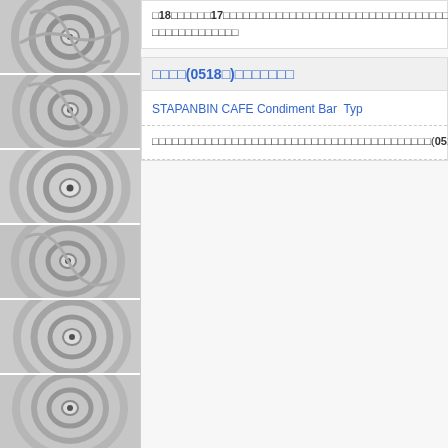[Figure (photo): Satellite images of typhoon eyes shown in a vertical left sidebar strip, six images stacked]
□18□□□□□□17□□□□□□□□□□□□□□□□□□□□□□□□□□□□□□□□□□□□□□□□□□□□□□□□□□□□□□□□□□□□□□□□□□□□□□□□□□□□□□□□□□□□□□□□□□□□□□□□□□□□□□□□□□□□□□□□□□□□ □□□□□□□□□□□□□
□□□□(0518□)□□□□□□□
STAPANBIN CAFE Condiment Bar  Typ
□□□□□□□□□□□□□□□□□□□□□□□□□□□□□□□□□□□□□□□□□□(0517□)□□□...□□□□□□□□□□□□□□□□□□□□□□□□□□□□□□□□□□□□□□□□□□2000□1□